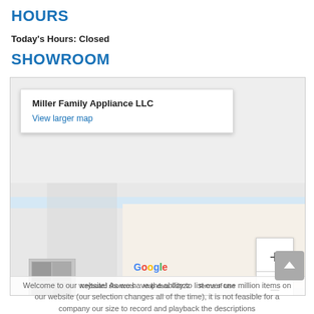HOURS
Today's Hours: Closed
SHOWROOM
[Figure (map): Google Maps embed showing Miller Family Appliance LLC location with map popup, zoom controls, Google logo, and footer with Keyboard shortcuts, Map data ©2022, Terms of Use]
Welcome to our website! As we have the ability to list over one million items on our website (our selection changes all of the time), it is not feasible for a company our size to record and playback the descriptions